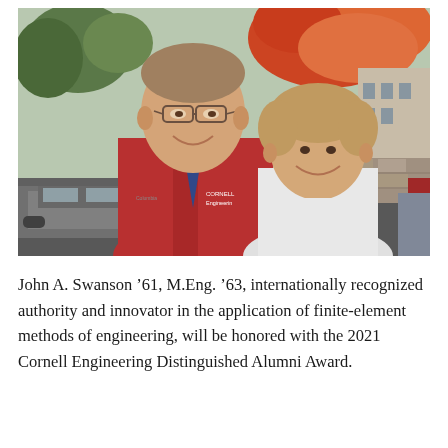[Figure (photo): Two people posing together outdoors in a parking lot with autumn foliage trees (red and orange leaves) in the background. The man on the left wears glasses and a red Cornell Engineering jacket; the woman on the right has short blonde hair and is smiling.]
John A. Swanson '61, M.Eng. '63, internationally recognized authority and innovator in the application of finite-element methods of engineering, will be honored with the 2021 Cornell Engineering Distinguished Alumni Award.